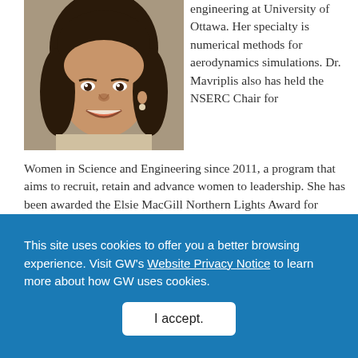[Figure (photo): Headshot photo of a woman with dark hair, smiling, wearing a light top and small earrings, against a neutral background.]
engineering at University of Ottawa. Her specialty is numerical methods for aerodynamics simulations. Dr. Mavriplis also has held the NSERC Chair for Women in Science and Engineering since 2011, a program that aims to recruit, retain and advance women to leadership. She has been awarded the Elsie MacGill Northern Lights Award for Education.
This site uses cookies to offer you a better browsing experience. Visit GW's Website Privacy Notice to learn more about how GW uses cookies.
I accept.